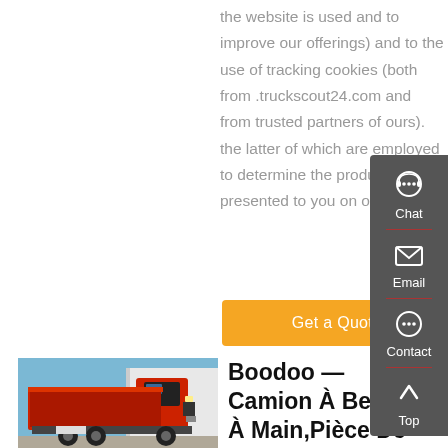the website is used and to improve our offerings) and to the use of tracking cookies (both from .truckscout24.com and from trusted partners of ours). the latter of which are employed to determine the products presented to you on our
Get a Quote
[Figure (photo): Red dump truck (heavy tipper/SINOTRUK) parked in a lot with white warehouse buildings in background, clear blue sky]
Boodoo — Camion À Benne À Main,Pièce De Rechange Pour
[Figure (infographic): Sidebar with dark grey background containing Chat, Email, Contact icons and Top arrow navigation]